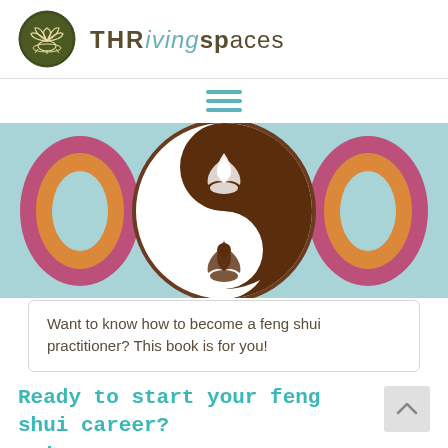[Figure (logo): Thriving Spaces logo: circular emblem with lotus flower in dark olive green on left, and brand name 'THRiving spaces' in dark brown/teal lettering on right]
[Figure (other): Hamburger menu icon (three horizontal teal lines)]
[Figure (illustration): Colorful yin-yang style illustration with lotus flowers, in brown, white, magenta, yellow and light blue colors]
Want to know how to become a feng shui practitioner? This book is for you!
Ready to start your feng shui career? on!